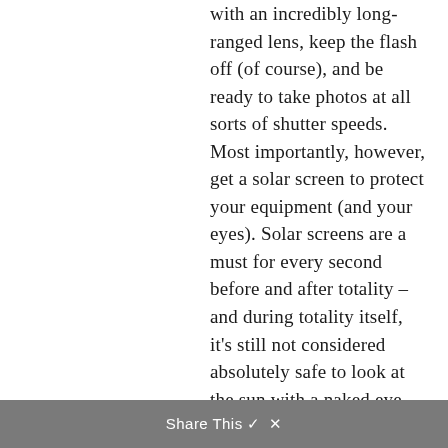with an incredibly long-ranged lens, keep the flash off (of course), and be ready to take photos at all sorts of shutter speeds. Most importantly, however, get a solar screen to protect your equipment (and your eyes). Solar screens are a must for every second before and after totality – and during totality itself, it's still not considered absolutely safe to look at the sun with a naked eye, unless you dare take a peek just for a split second.
Share This ✓ ×